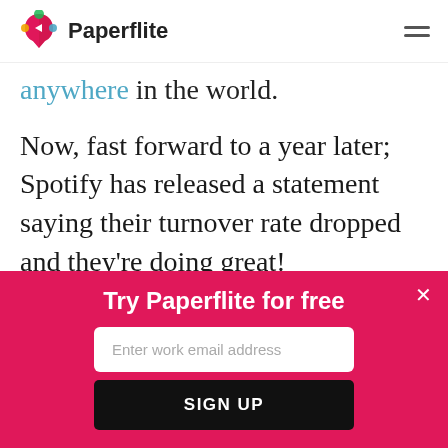Paperflite
anywhere in the world.
Now, fast forward to a year later; Spotify has released a statement saying their turnover rate dropped and they're doing great!
Here's another example of how a
Try Paperflite for free
Enter work email address
SIGN UP